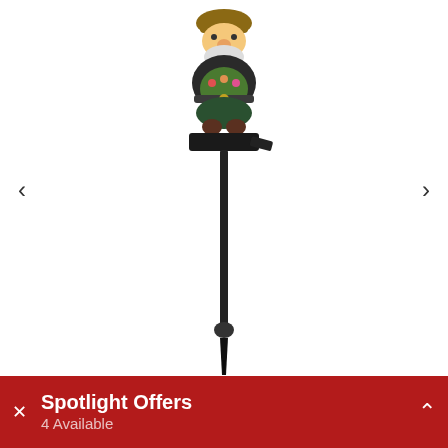[Figure (photo): A garden gnome figurine mounted on a tall black metal stake/spike. The gnome has a colorful body with green and brown tones, decorative flowers, and sits atop a black base with a small solar panel tab. The stake is long and tapered to a point at the bottom for ground insertion. Navigation arrows (< and >) appear on the left and right sides of the image viewer.]
Spotlight Offers
4 Available